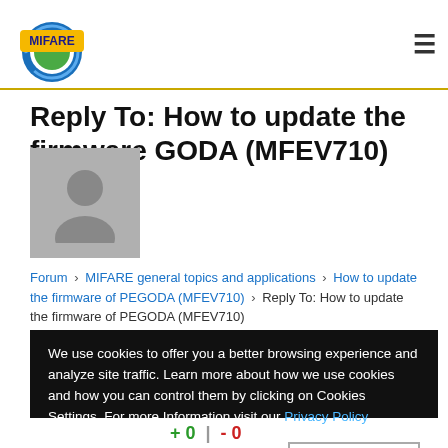MIFARE logo and navigation
Reply To: How to update the firmware GODA (MFEV710)
Forum › MIFARE general topics and applications › How to update the firmware of PEGODA (MFEV710) › Reply To: How to update the firmware of PEGODA (MFEV710)
We use cookies to offer you a better browsing experience and analyze site traffic. Learn more about how we use cookies and how you can control them by clicking on Cookies Settings. For more Information visit our Privacy Policy
+ 0  |  - 0